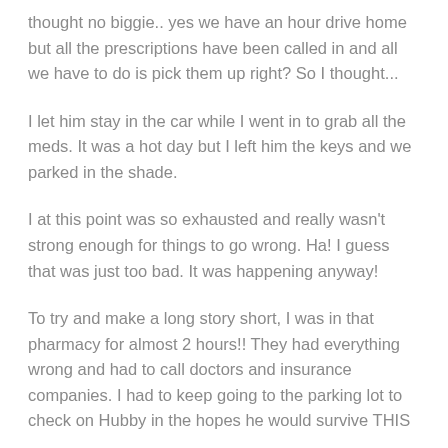thought no biggie.. yes we have an hour drive home but all the prescriptions have been called in and all we have to do is pick them up right? So I thought...
I let him stay in the car while I went in to grab all the meds. It was a hot day but I left him the keys and we parked in the shade.
I at this point was so exhausted and really wasn't strong enough for things to go wrong. Ha! I guess that was just too bad. It was happening anyway!
To try and make a long story short, I was in that pharmacy for almost 2 hours!! They had everything wrong and had to call doctors and insurance companies. I had to keep going to the parking lot to check on Hubby in the hopes he would survive THIS